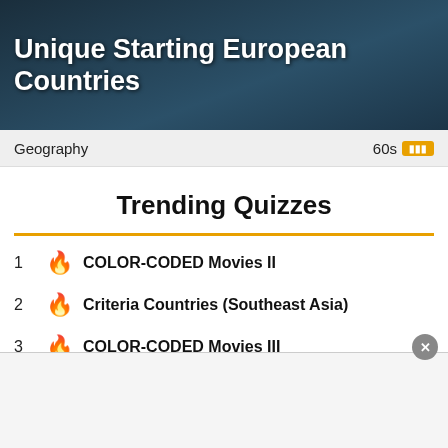Unique Starting European Countries
Geography   60s
Trending Quizzes
1 🔥 COLOR-CODED Movies II
2 🔥 Criteria Countries (Southeast Asia)
3 🔥 COLOR-CODED Movies III
4 🔥 15 in 15: Countries of Africa II